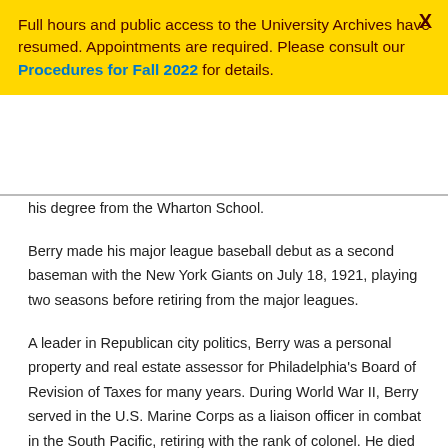Full hours and public access to the University Archives have resumed. Appointments are required. Please consult our Procedures for Fall 2022 for details.
his degree from the Wharton School.
Berry made his major league baseball debut as a second baseman with the New York Giants on July 18, 1921, playing two seasons before retiring from the major leagues.
A leader in Republican city politics, Berry was a personal property and real estate assessor for Philadelphia's Board of Revision of Taxes for many years. During World War II, Berry served in the U.S. Marine Corps as a liaison officer in combat in the South Pacific, retiring with the rank of colonel. He died in Philadelphia on April 29, 1976.